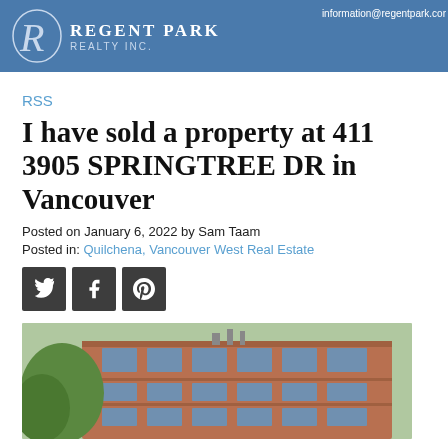Regent Park Realty Inc. | information@regentpark.com
RSS
I have sold a property at 411 3905 SPRINGTREE DR in Vancouver
Posted on January 6, 2022 by Sam Taam
Posted in: Quilchena, Vancouver West Real Estate
[Figure (other): Social media share icons: Twitter, Facebook, Pinterest]
[Figure (photo): Exterior photo of a brick residential apartment building with balconies, trees visible in foreground]